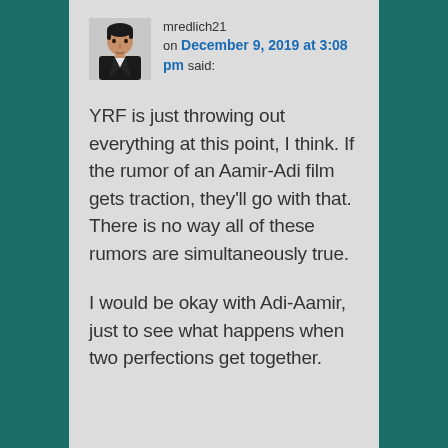[Figure (photo): User avatar photo of a man in a dark suit, profile picture thumbnail]
mredlich21 on December 9, 2019 at 3:08 pm said:
YRF is just throwing out everything at this point, I think. If the rumor of an Aamir-Adi film gets traction, they'll go with that. There is no way all of these rumors are simultaneously true.
I would be okay with Adi-Aamir, just to see what happens when two perfections get together.